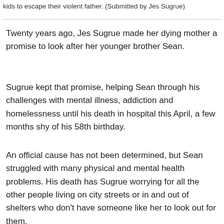kids to escape their violent father. (Submitted by Jes Sugrue)
Twenty years ago, Jes Sugrue made her dying mother a promise to look after her younger brother Sean.
Sugrue kept that promise, helping Sean through his challenges with mental illness, addiction and homelessness until his death in hospital this April, a few months shy of his 58th birthday.
An official cause has not been determined, but Sean struggled with many physical and mental health problems. His death has Sugrue worrying for all the other people living on city streets or in and out of shelters who don't have someone like her to look out for them.